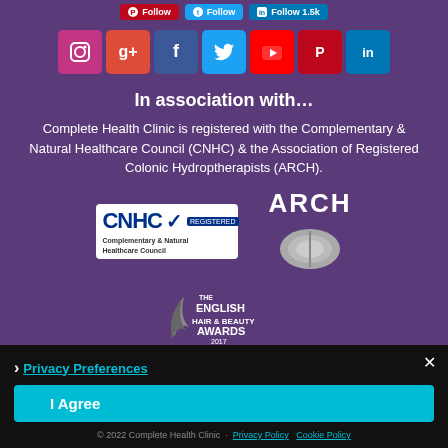[Figure (other): Social media follow buttons for Pinterest, Twitter, LinkedIn and social icon grid (Instagram, Google+, Facebook, Twitter, YouTube, Pinterest, LinkedIn)]
In association with…
Complete Health Clinic is registered with the Complementary & Natural Healthcare Council (CNHC) & the Association of Registered Colonic Hydroptherapists (ARCH).
[Figure (logo): CNHC (Complementary & Natural Healthcare Council) logo and ARCH logo side by side]
[Figure (logo): The English Hair & Beauty Awards logo]
Privacy Preferences
I Agree
© 2022 Complete Health Clinic  Privacy Policy  Cookie Policy